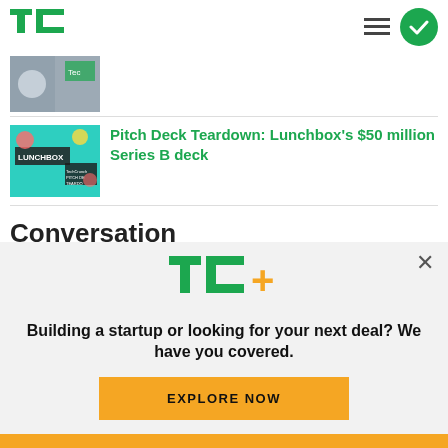TechCrunch
[Figure (photo): Article thumbnail showing person in office/tech event setting]
[Figure (photo): Lunchbox article thumbnail - colorful image with LUNCHBOX text and TechCrunch Pitch Deck Teardown branding]
Pitch Deck Teardown: Lunchbox's $50 million Series B deck
Conversation
[Figure (logo): TC+ logo in green and yellow]
Building a startup or looking for your next deal? We have you covered.
EXPLORE NOW